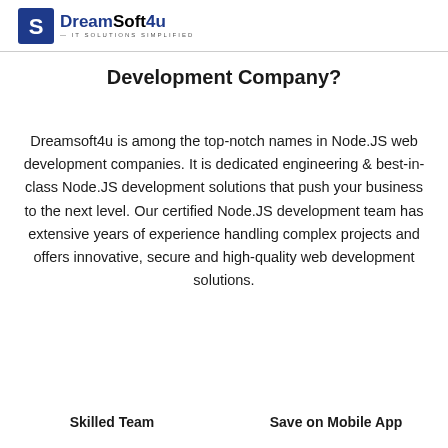DreamSoft4u — IT SOLUTIONS SIMPLIFIED
Development Company?
Dreamsoft4u is among the top-notch names in Node.JS web development companies. It is dedicated engineering & best-in-class Node.JS development solutions that push your business to the next level. Our certified Node.JS development team has extensive years of experience handling complex projects and offers innovative, secure and high-quality web development solutions.
Skilled Team
Save on Mobile App